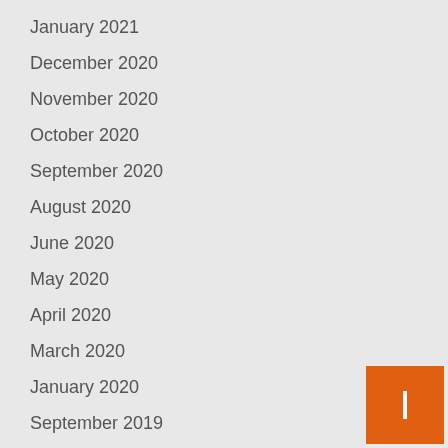January 2021
December 2020
November 2020
October 2020
September 2020
August 2020
June 2020
May 2020
April 2020
March 2020
January 2020
September 2019